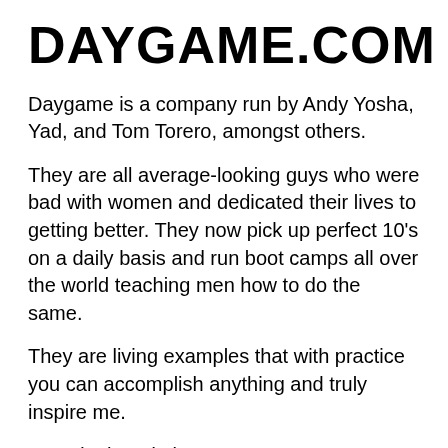DAYGAME.COM
Daygame is a company run by Andy Yosha, Yad, and Tom Torero, amongst others.
They are all average-looking guys who were bad with women and dedicated their lives to getting better. They now pick up perfect 10's on a daily basis and run boot camps all over the world teaching men how to do the same.
They are living examples that with practice you can accomplish anything and truly inspire me.
How do they do it?
Here's a nice little video collaboration of Tom